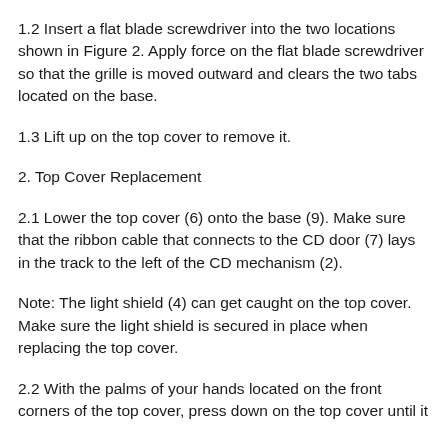1.2 Insert a flat blade screwdriver into the two locations shown in Figure 2. Apply force on the flat blade screwdriver so that the grille is moved outward and clears the two tabs located on the base.
1.3 Lift up on the top cover to remove it.
2. Top Cover Replacement
2.1 Lower the top cover (6) onto the base (9). Make sure that the ribbon cable that connects to the CD door (7) lays in the track to the left of the CD mechanism (2).
Note: The light shield (4) can get caught on the top cover. Make sure the light shield is secured in place when replacing the top cover.
2.2 With the palms of your hands located on the front corners of the top cover, press down on the top cover until it...